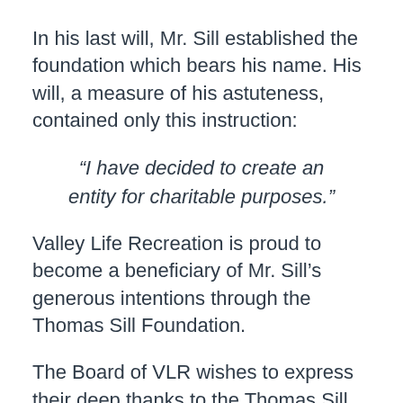In his last will, Mr. Sill established the foundation which bears his name. His will, a measure of his astuteness, contained only this instruction:
“I have decided to create an entity for charitable purposes.”
Valley Life Recreation is proud to become a beneficiary of Mr. Sill’s generous intentions through the Thomas Sill Foundation.
The Board of VLR wishes to express their deep thanks to the Thomas Sill Foundation Board of Directors for their selection of the Squirrel Hills Trail Park project to receive this valuable funding.